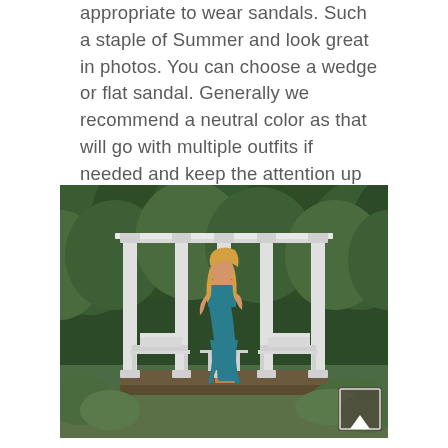appropriate to wear sandals. Such a staple of Summer and look great in photos. You can choose a wedge or flat sandal. Generally we recommend a neutral color as that will go with multiple outfits if needed and keep the attention up toward your face.
[Figure (photo): A young woman wearing a teal/blue dress standing under a white ornate gazebo with columns, surrounded by lush green trees and foliage, with white wrought iron garden chairs/benches visible. A scroll-up arrow button is visible in the bottom right corner of the photo.]